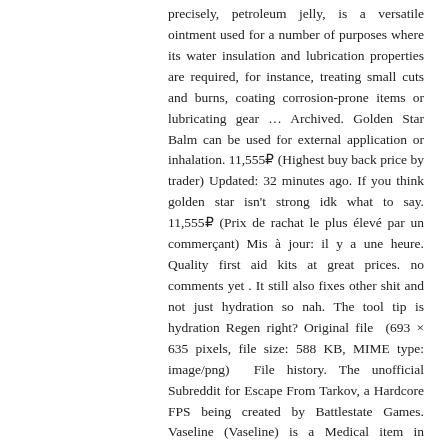precisely, petroleum jelly, is a versatile ointment used for a number of purposes where its water insulation and lubrication properties are required, for instance, treating small cuts and burns, coating corrosion-prone items or lubricating gear … Archived. Golden Star Balm can be used for external application or inhalation. 11,555₽ (Highest buy back price by trader) Updated: 32 minutes ago. If you think golden star isn't strong idk what to say. 11,555₽ (Prix de rachat le plus élevé par un commerçant) Mis à jour: il y a une heure. Quality first aid kits at great prices. no comments yet . It still also fixes other shit and not just hydration so nah. The tool tip is hydration Regen right? Original file  (693 × 635 pixels, file size: 588 KB, MIME type: image/png)  File history. The unofficial Subreddit for Escape From Tarkov, a Hardcore FPS being created by Battlestate Games. Vaseline (Vaseline) is a Medical item in Escape from Tarkov. Historical data … How come you hydrate yourself by using some sort of vaseline on your hands? You may need to